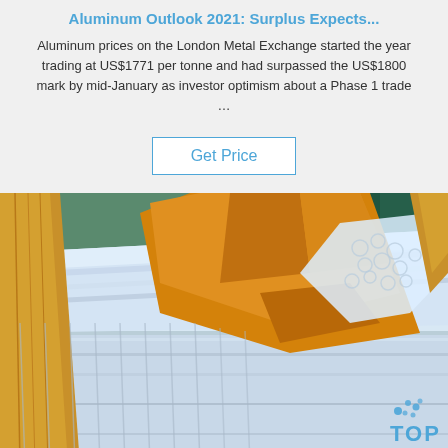Aluminum Outlook 2021: Surplus Expects...
Aluminum prices on the London Metal Exchange started the year trading at US$1771 per tonne and had surpassed the US$1800 mark by mid-January as investor optimism about a Phase 1 trade …
Get Price
[Figure (photo): Aluminum sheet rolls wrapped in orange/gold packaging material with bubble wrap, stacked in an industrial setting with green background. TOP logo watermark visible in bottom right.]